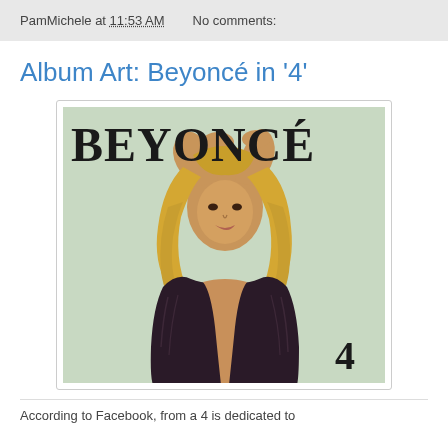PamMichele at 11:53 AM   No comments:
Album Art: Beyoncé in '4'
[Figure (photo): Beyoncé album cover for '4' — woman with blonde hair wearing dark fur coat, arms raised above head, against mint/sage green background. Large serif text 'BEYONCÉ' at top, numeral '4' at bottom right.]
According to Facebook, from a 4 is dedicated to